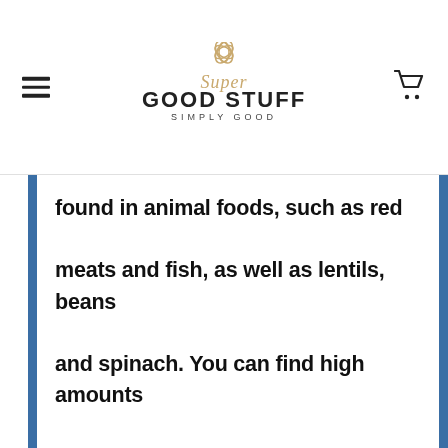Super Good Stuff - Simply Good
found in animal foods, such as red meats and fish, as well as lentils, beans and spinach. You can find high amounts of zinc in red meats, legumes, nuts, and shellfish. Iodine can be found in iodized salt, cod, dairy products, and seaweed.